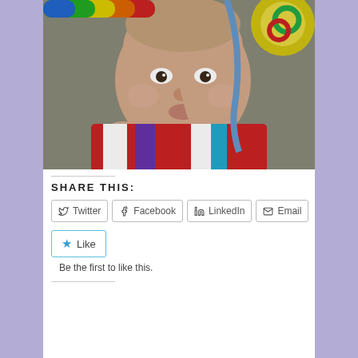[Figure (photo): Close-up photo of a baby with finger near nose, wearing a colorful striped outfit, surrounded by colorful baby toys/activity gym]
SHARE THIS:
Twitter | Facebook | LinkedIn | Email
Like
Be the first to like this.